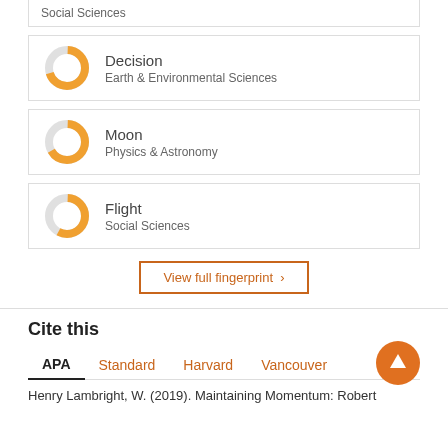Social Sciences
[Figure (other): Donut chart for Decision / Earth & Environmental Sciences keyword fingerprint]
Decision
Earth & Environmental Sciences
[Figure (other): Donut chart for Moon / Physics & Astronomy keyword fingerprint]
Moon
Physics & Astronomy
[Figure (other): Donut chart for Flight / Social Sciences keyword fingerprint]
Flight
Social Sciences
View full fingerprint >
Cite this
APA   Standard   Harvard   Vancouver
Henry Lambright, W. (2019). Maintaining Momentum: Robert